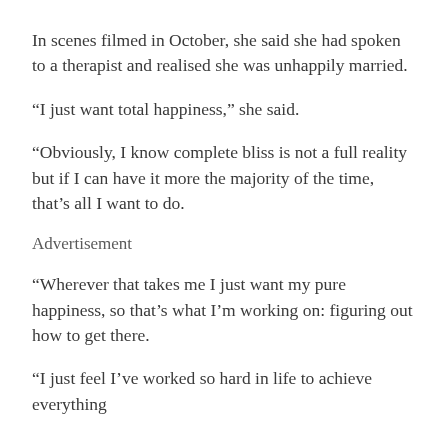In scenes filmed in October, she said she had spoken to a therapist and realised she was unhappily married.
“I just want total happiness,” she said.
“Obviously, I know complete bliss is not a full reality but if I can have it more the majority of the time, that’s all I want to do.
Advertisement
“Wherever that takes me I just want my pure happiness, so that’s what I’m working on: figuring out how to get there.
“I just feel I’ve worked so hard in life to achieve everything